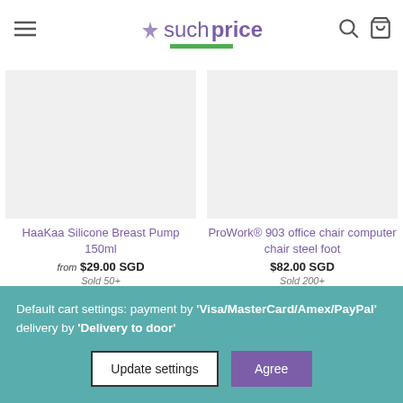suchprice
[Figure (photo): HaaKaa Silicone Breast Pump 150ml product image placeholder]
HaaKaa Silicone Breast Pump 150ml
from $29.00 SGD
Sold 50+
2 reviews
[Figure (photo): ProWork 903 office chair product image placeholder]
ProWork® 903 office chair computer chair steel foot
$82.00 SGD
Sold 200+
5 reviews
Default cart settings: payment by 'Visa/MasterCard/Amex/PayPal' delivery by 'Delivery to door'
Update settings
Agree